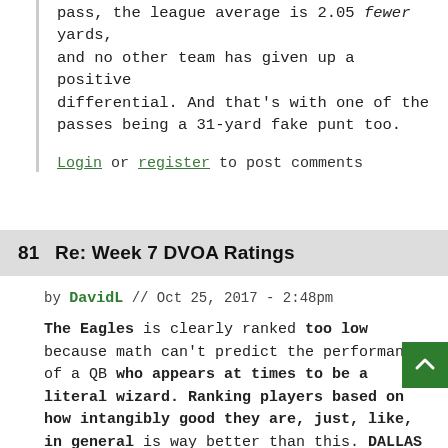pass, the league average is 2.05 fewer yards, and no other team has given up a positive differential. And that's with one of the passes being a 31-yard fake punt too.
Login or register to post comments
81  Re: Week 7 DVOA Ratings
by DavidL // Oct 25, 2017 - 2:48pm
The Eagles is clearly ranked too low because math can't predict the performance of a QB who appears at times to be a literal wizard. Ranking players based on how intangibly good they are, just, like, in general is way better than this. DALLAS SUXORZ